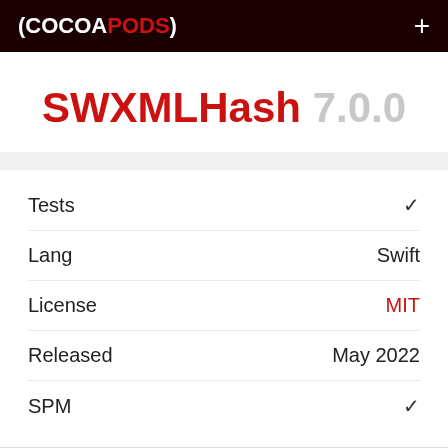(COCOA PODS) +
SWXMLHash 7.0.0
|  |  |
| --- | --- |
| Tests | ✓ |
| Lang | Swift |
| License | MIT |
| Released | May 2022 |
| SPM | ✓ |
Maintained by David Mohundro.